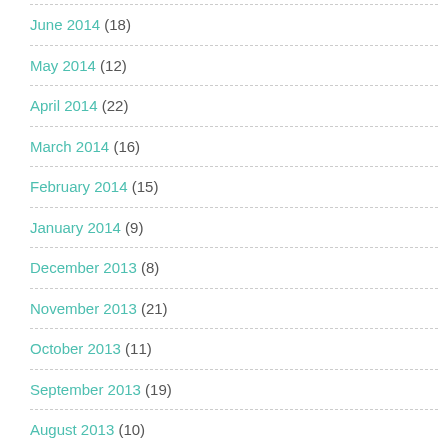June 2014 (18)
May 2014 (12)
April 2014 (22)
March 2014 (16)
February 2014 (15)
January 2014 (9)
December 2013 (8)
November 2013 (21)
October 2013 (11)
September 2013 (19)
August 2013 (10)
July 2013 (18)